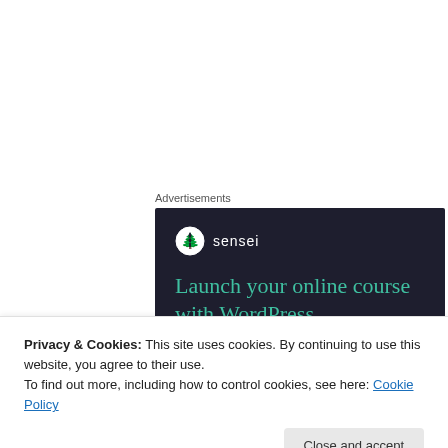Advertisements
[Figure (screenshot): Sensei advertisement banner with dark navy background. Shows Sensei logo (tree icon in white circle) and brand name 'sensei'. Headline reads 'Launch your online course with WordPress' in teal/green text. A teal 'Learn More' button with rounded corners is shown below.]
Privacy & Cookies: This site uses cookies. By continuing to use this website, you agree to their use.
To find out more, including how to control cookies, see here: Cookie Policy
Close and accept
buttoned to the neck. If you're like me, and you take the